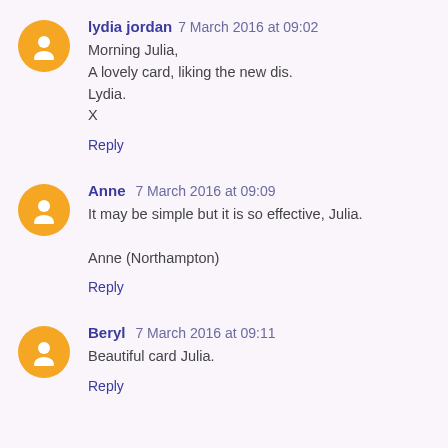lydia jordan 7 March 2016 at 09:02
Morning Julia,
A lovely card, liking the new dis.
Lydia.
X
Reply
Anne 7 March 2016 at 09:09
It may be simple but it is so effective, Julia.
Anne (Northampton)
Reply
Beryl 7 March 2016 at 09:11
Beautiful card Julia.
Reply